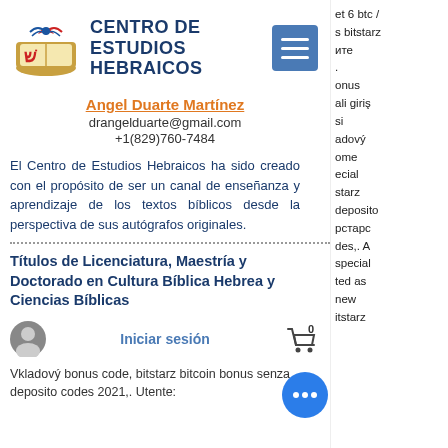[Figure (logo): Centro de Estudios Hebraicos logo with Hebrew letter and books]
CENTRO DE ESTUDIOS HEBRAICOS
Angel Duarte Martínez
drangelduarte@gmail.com
+1(829)760-7484
El Centro de Estudios Hebraicos ha sido creado con el propósito de ser un canal de enseñanza y aprendizaje de los textos bíblicos desde la perspectiva de sus autógrafos originales.
Títulos de Licenciatura, Maestría y Doctorado en Cultura Bíblica Hebrea y Ciencias Bíblicas
Iniciar sesión
Vkladový bonus code, bitstarz bitcoin bonus senza deposito codes 2021,. Utente: